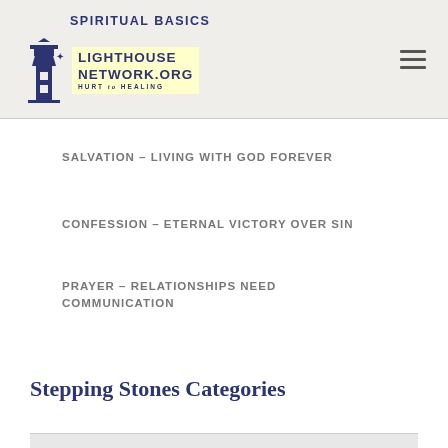SPIRITUAL BASICS — Lighthouse Network.org Hurt to Healing
SALVATION – LIVING WITH GOD FOREVER
CONFESSION – ETERNAL VICTORY OVER SIN
PRAYER – RELATIONSHIPS NEED COMMUNICATION
Stepping Stones Categories